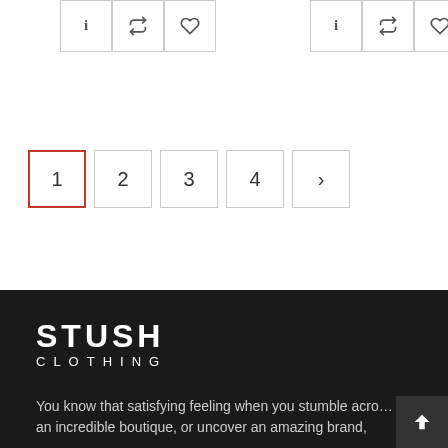[Figure (screenshot): Two rows of icon cells (info, retweet, heart icons) in bordered boxes at the top of the page]
[Figure (screenshot): Pagination controls showing pages 1 (active, red border), 2, 3, 4, and a next arrow button]
[Figure (logo): Stush Clothing logo in white text on dark background]
You know that satisfying feeling when you stumble acro... an incredible boutique, or uncover an amazing brand,